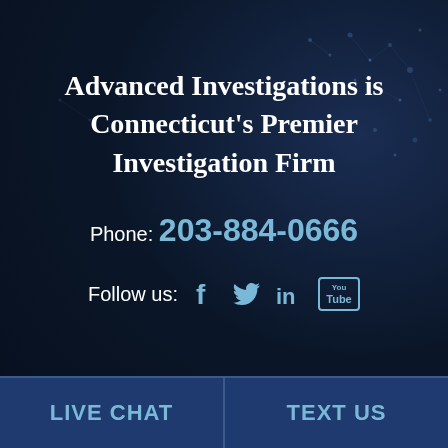[Figure (illustration): Dark navy background with subtle dot/network pattern overlay resembling a digital globe or connectivity map]
Advanced Investigations is Connecticut's Premier Investigation Firm
Phone: 203-884-0666
Follow us: [Facebook] [Twitter] [LinkedIn] [YouTube]
LIVE CHAT
TEXT US